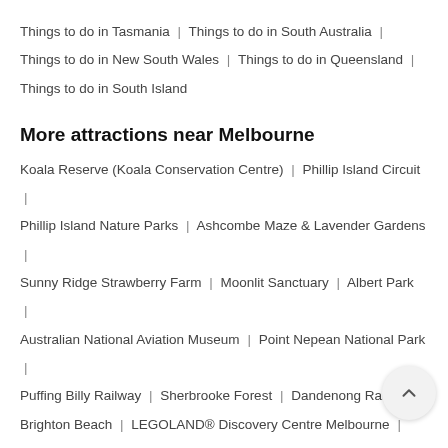Things to do in Tasmania | Things to do in South Australia | Things to do in New South Wales | Things to do in Queensland | Things to do in South Island
More attractions near Melbourne
Koala Reserve (Koala Conservation Centre) | Phillip Island Circuit | Phillip Island Nature Parks | Ashcombe Maze & Lavender Gardens | Sunny Ridge Strawberry Farm | Moonlit Sanctuary | Albert Park | Australian National Aviation Museum | Point Nepean National Park | Puffing Billy Railway | Sherbrooke Forest | Dandenong Ranges | Brighton Beach | LEGOLAND® Discovery Centre Melbourne | Caulfield Racecourse
Recommended for Melbourne
Visiting the Little Penguins | How to Pick a Great Ocean Road Tour |